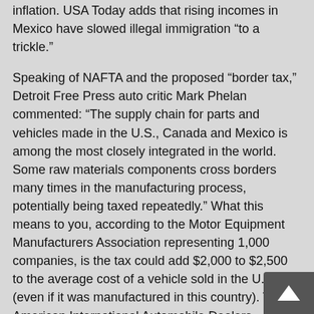inflation. USA Today adds that rising incomes in Mexico have slowed illegal immigration “to a trickle.”
Speaking of NAFTA and the proposed “border tax,” Detroit Free Press auto critic Mark Phelan commented: “The supply chain for parts and vehicles made in the U.S., Canada and Mexico is among the most closely integrated in the world. Some raw materials components cross borders many times in the manufacturing process, potentially being taxed repeatedly.” What this means to you, according to the Motor Equipment Manufacturers Association representing 1,000 companies, is the tax could add $2,000 to $2,500 to the average cost of a vehicle sold in the U.S. (even if it was manufactured in this country). The American International Automobile Dealers Association adds: “That’s $100 a month if you finance the car. It’s a recipe for disaster for the American economy.”
If you've ever wondered if immigrants contribute to the U.S. economy, consider this. Forty percent of Fortune 500 companies were founded by immigrants. Immigrant business owners are responsible for 15 percent of all business revenue, $121.2 billion.